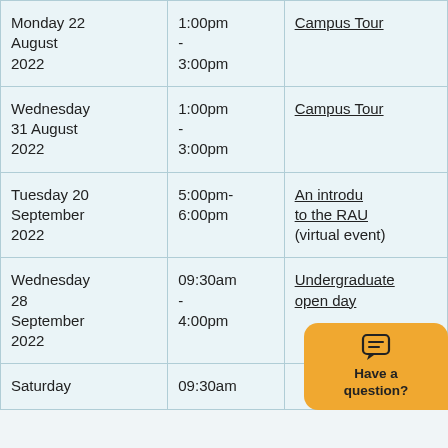| Monday 22 August 2022 | 1:00pm - 3:00pm | Campus Tour |
| Wednesday 31 August 2022 | 1:00pm - 3:00pm | Campus Tour |
| Tuesday 20 September 2022 | 5:00pm-6:00pm | An introduction to the RAU (virtual event) |
| Wednesday 28 September 2022 | 09:30am - 4:00pm | Undergraduate open day |
| Saturday | 09:30am |  |